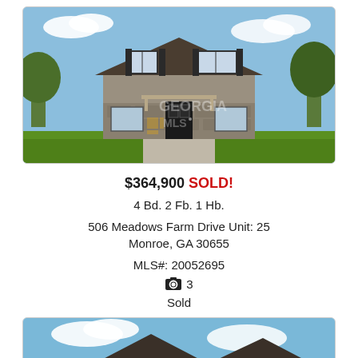[Figure (photo): Two-story house with gray/beige siding, stone facade on lower level, black shutters, green lawn, trees in background. Georgia MLS watermark visible.]
$364,900 SOLD!
4 Bd. 2 Fb. 1 Hb.
506 Meadows Farm Drive Unit: 25
Monroe, GA 30655
MLS#: 20052695
📷 3
Sold
[Figure (photo): Partial view of another house listing, showing roofline against blue sky with clouds.]